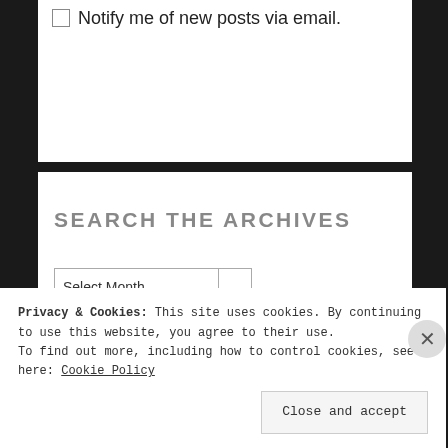Notify me of new posts via email.
SEARCH THE ARCHIVES
Select Month
SOME OF MY TOPICS
Privacy & Cookies: This site uses cookies. By continuing to use this website, you agree to their use.
To find out more, including how to control cookies, see here: Cookie Policy
Close and accept